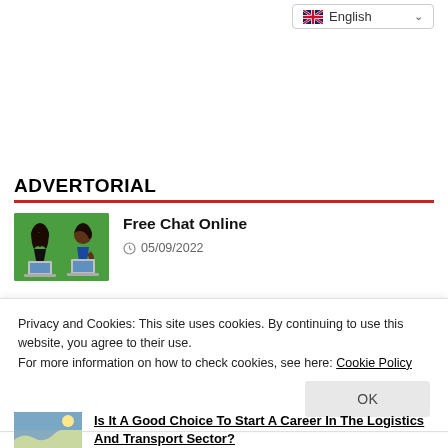English
ADVERTORIAL
[Figure (illustration): Two people sitting on grass with laptops facing each other, green background illustration]
Free Chat Online
05/09/2022
Privacy and Cookies: This site uses cookies. By continuing to use this website, you agree to their use.
For more information on how to check cookies, see here: Cookie Policy
OK
Is It A Good Choice To Start A Career In The Logistics And Transport Sector?